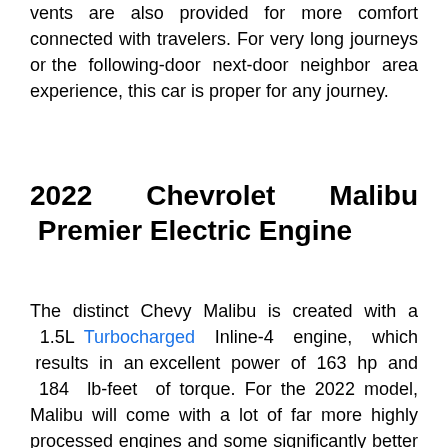vents are also provided for more comfort connected with travelers. For very long journeys or the following-door next-door neighbor area experience, this car is proper for any journey.
2022 Chevrolet Malibu Premier Electric Engine
The distinct Chevy Malibu is created with a 1.5L Turbocharged Inline-4 engine, which results in an excellent power of 163 hp and 184 lb-feet of torque. For the 2022 model, Malibu will come with a lot of far more highly processed engines and some significantly better figures. The leading trims are constructed with a beneficial and unique 2.0L Turbocharged 4 pipe engine. This durable and desirable engine creates a size power of 250 hp and also 260 lb-ft of torque, though the 9-pace automatic transmission moves electric powered